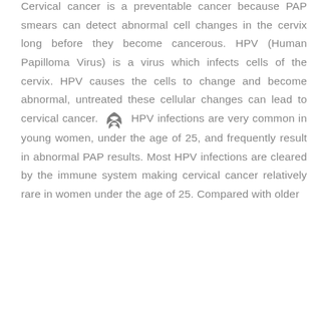Cervical cancer is a preventable cancer because PAP smears can detect abnormal cell changes in the cervix long before they become cancerous. HPV (Human Papilloma Virus) is a virus which infects cells of the cervix. HPV causes the cells to change and become abnormal, untreated these cellular changes can lead to cervical cancer. HPV infections are very common in young women, under the age of 25, and frequently result in abnormal PAP results. Most HPV infections are cleared by the immune system making cervical cancer relatively rare in women under the age of 25. Compared with older